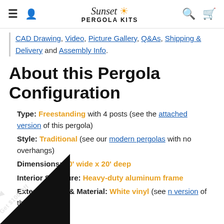Sunset Pergola Kits — site navigation header with logo, hamburger menu, person icon, search icon, cart icon
CAD Drawing, Video, Picture Gallery, Q&As, Shipping & Delivery and Assembly Info.
About this Pergola Configuration
Type: Freestanding with 4 posts (see the attached version of this pergola)
Style: Traditional (see our modern pergolas with no overhangs)
Dimensions: 20' wide x 20' deep
Interior Structure: Heavy-duty aluminum frame
Exterior Color & Material: White vinyl (see [brown] version of this pergola)